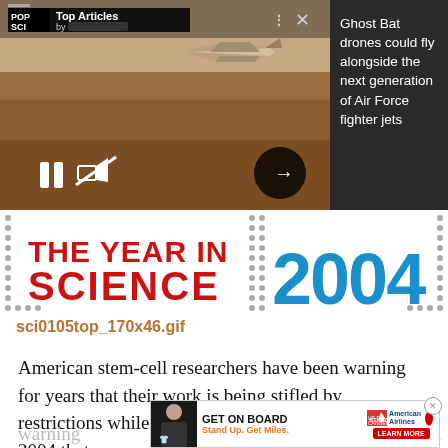[Figure (screenshot): Video player showing an aircraft flying over desert terrain, with POP SCI Top Articles overlay and playback controls. Pause and mute buttons visible bottom left, arrow button bottom right.]
Ghost Bat drones could fly alongside the next generation of Air Force fighter jets
[Figure (screenshot): THE YEAR IN SCIENCE 2004 banner graphic with red and blue bold text on white background with dot border pattern]
sci0105top_170x46.gif
American stem-cell researchers have been warning for years that their work is being stifled by restrictions while scientists abroad forge ahead. In 2004 that warning came true, when a team of researchers from South
[Figure (screenshot): Advertisement: GET ON BOARD Stand Up. Get Miles. with Stand Up To Cancer and American Airlines logos and LEARN MORE button]